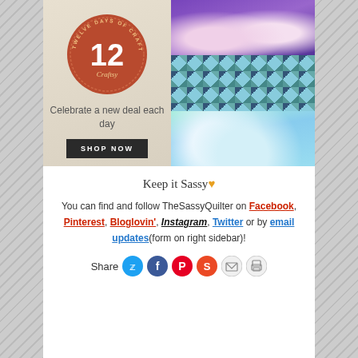[Figure (illustration): Craftsy advertisement banner: 'Twelve Days of Craftsy' circular badge with number 12, tagline 'Celebrate a new deal each day', SHOP NOW button, with craft photos (knitting, quilting, cake decorating) on the right]
Keep it Sassy♥
You can find and follow TheSassyQuilter on Facebook, Pinterest, Bloglovin', Instagram, Twitter or by email updates(form on right sidebar)!
Share [social media icons: Twitter, Facebook, Pinterest, StumbleUpon, Email, Print]